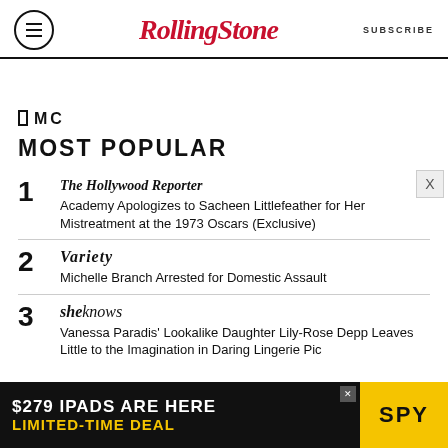Rolling Stone | SUBSCRIBE
[Figure (logo): PMC logo text]
MOST POPULAR
1 The Hollywood Reporter — Academy Apologizes to Sacheen Littlefeather for Her Mistreatment at the 1973 Oscars (Exclusive)
2 Variety — Michelle Branch Arrested for Domestic Assault
3 SheKnows — Vanessa Paradis' Lookalike Daughter Lily-Rose Depp Leaves Little to the Imagination in Daring Lingerie Pic
[Figure (infographic): Advertisement banner: $279 IPADS ARE HERE LIMITED-TIME DEAL SPY]